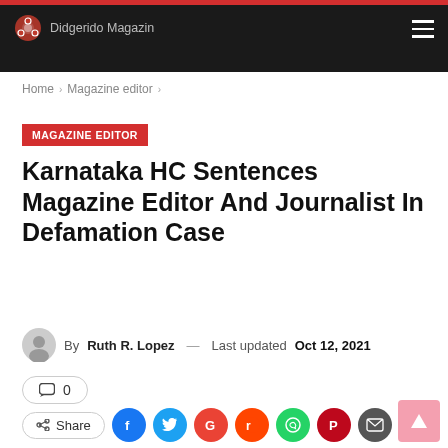Didgerido Magazine
Home > Magazine editor >
MAGAZINE EDITOR
Karnataka HC Sentences Magazine Editor And Journalist In Defamation Case
By Ruth R. Lopez — Last updated Oct 12, 2021
0
Share